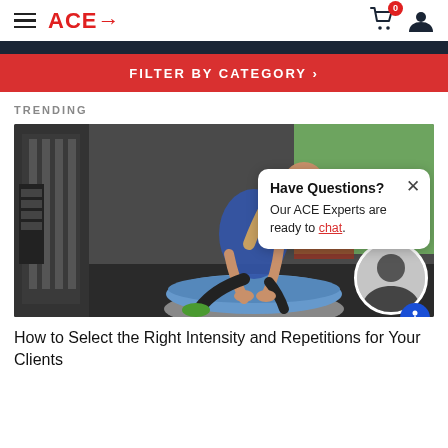ACE
FILTER BY CATEGORY >
TRENDING
[Figure (photo): Woman in blue tank top doing a push-up position on a BOSU ball in a gym with equipment and large windows in the background]
Have Questions? Our ACE Experts are ready to chat.
How to Select the Right Intensity and Repetitions for Your Clients